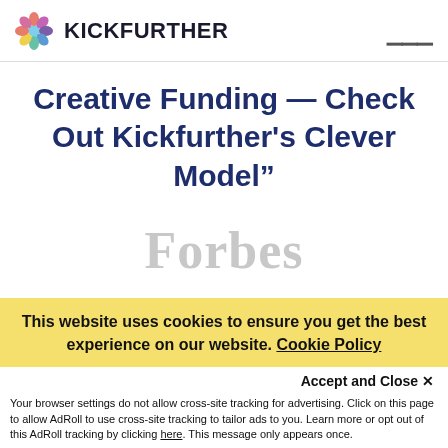KICKFURTHER
Creative Funding — Check Out Kickfurther's Clever Model"
[Figure (logo): Forbes logo in light gray serif font]
This website uses cookies to ensure you get the best experience on our website. Cookie Policy
Accept and Close ✕
Your browser settings do not allow cross-site tracking for advertising. Click on this page to allow AdRoll to use cross-site tracking to tailor ads to you. Learn more or opt out of this AdRoll tracking by clicking here. This message only appears once.